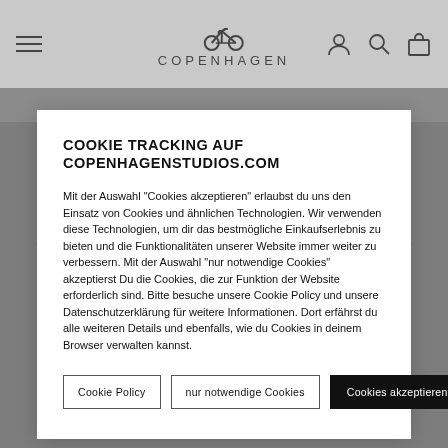COPENHAGEN
COOKIE TRACKING AUF COPENHAGENSTUDIOS.COM
Mit der Auswahl "Cookies akzeptieren" erlaubst du uns den Einsatz von Cookies und ähnlichen Technologien. Wir verwenden diese Technologien, um dir das bestmögliche Einkaufserlebnis zu bieten und die Funktionalitäten unserer Website immer weiter zu verbessern. Mit der Auswahl "nur notwendige Cookies" akzeptierst Du die Cookies, die zur Funktion der Website erforderlich sind. Bitte besuche unsere Cookie Policy und unsere Datenschutzerklärung für weitere Informationen. Dort erfährst du alle weiteren Details und ebenfalls, wie du Cookies in deinem Browser verwalten kannst.
oversized suit and sneakers. The shoe is especially highlighted by the color contrast.